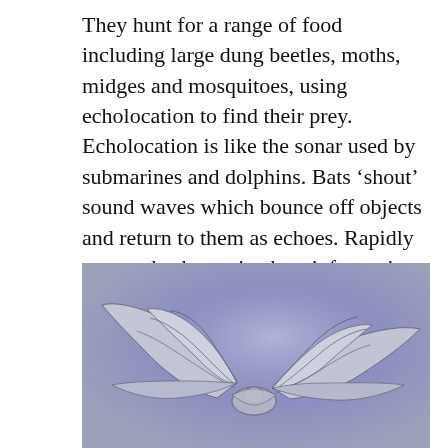They hunt for a range of food including large dung beetles, moths, midges and mosquitoes, using echolocation to find their prey. Echolocation is like the sonar used by submarines and dolphins. Bats ‘shout’ sound waves which bounce off objects and return to them as echoes. Rapidly repeated echoes give bats information on their surroundings, helping them to find their way in the dark and to chase and target their food.
[Figure (illustration): Illustration of bat wings spread open against a blue-purple gradient background. The bat wings are depicted in a light grey/silver tone with visible wing membrane and finger bones, shown from below with wings extended.]